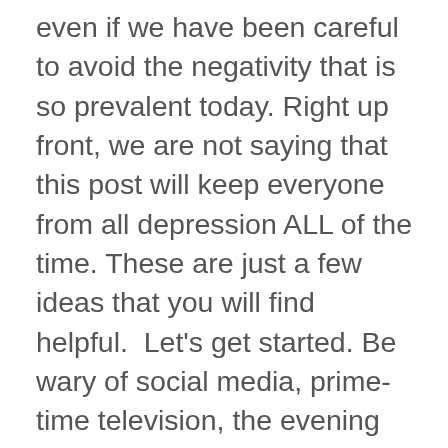even if we have been careful to avoid the negativity that is so prevalent today. Right up front, we are not saying that this post will keep everyone from all depression ALL of the time. These are just a few ideas that you will find helpful.  Let's get started. Be wary of social media, prime-time television, the evening news, and negative people, specifically those who are scornful (Those who express contempt and derision).